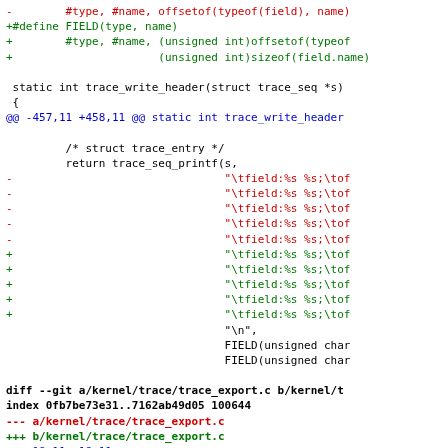Unified diff / patch code showing changes to kernel trace export files